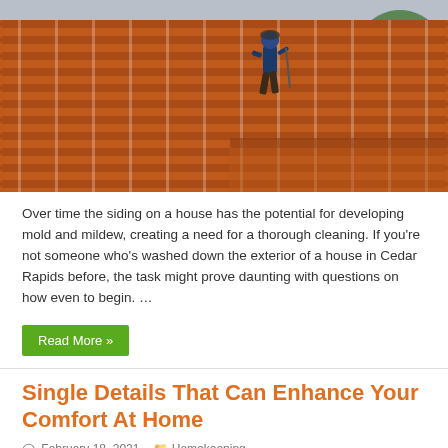[Figure (photo): A person in work gear cleaning or working on an orange/terracotta tiled roof, with green trees visible in the background.]
Over time the siding on a house has the potential for developing mold and mildew, creating a need for a thorough cleaning. If you’re not someone who’s washed down the exterior of a house in Cedar Rapids before, the task might prove daunting with questions on how even to begin. …
Read More »
Single Details That Can Enhance Your Comfort At Home
February 18, 2021   Homekeeping
Comments Off on Single Details That Can Enhance Your Comfort At Home